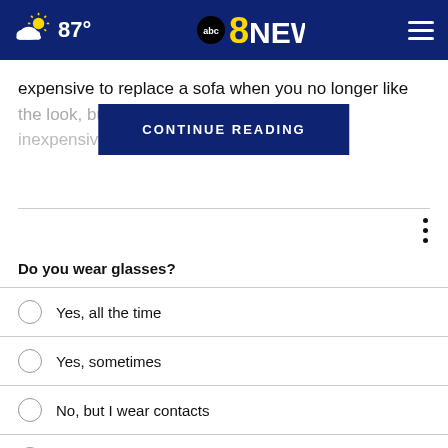ABC 8 News — 87°, weather icon, hamburger menu
expensive to replace a sofa when you no longer like the look, but s[CONTINUE READING]ylish and inexpensive w[CONTINUE READING]om and sofa
CONTINUE READING
Do you wear glasses?
Yes, all the time
Yes, sometimes
No, but I wear contacts
No, I never wear glasses
Does not apply